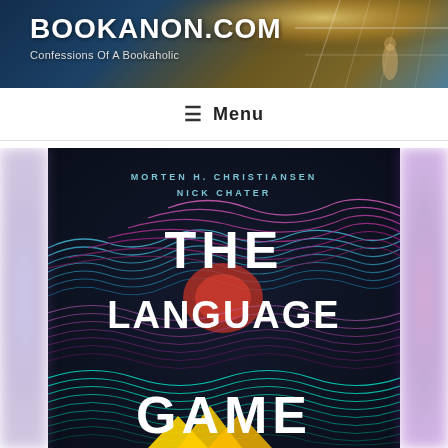BOOKANON.COM — Confessions Of A Bookaholic
≡ Menu
[Figure (illustration): Book cover of 'The Language Game' by Morten H. Christiansen and Nick Chater. Dark background with colorful wavy lines in blue, pink, purple, and teal. Large white title text reads THE LANGUAGE GAME with authors' names at top.]